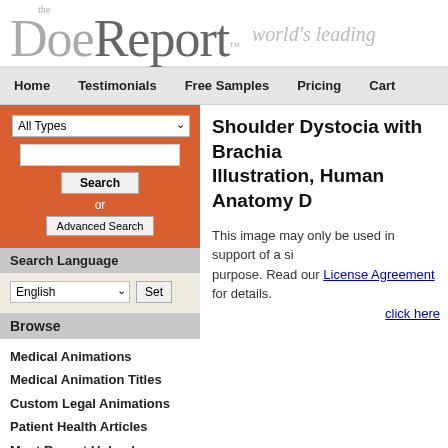the DoeReport™ world's leading
Home  Testimonials  Free Samples  Pricing  Cart
All Types
Search
or
Advanced Search
Search Language
English  Set
Browse
Medical Animations
Medical Animation Titles
Custom Legal Animations
Patient Health Articles
Most Recent Uploads
Shoulder Dystocia with Brachia Illustration, Human Anatomy D
This image may only be used in support of a si purpose. Read our License Agreement for details. click here